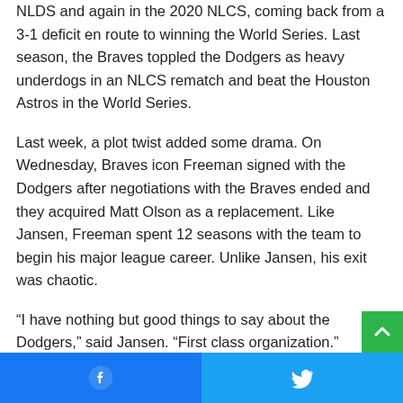NLDS and again in the 2020 NLCS, coming back from a 3-1 deficit en route to winning the World Series. Last season, the Braves toppled the Dodgers as heavy underdogs in an NLCS rematch and beat the Houston Astros in the World Series.
Last week, a plot twist added some drama. On Wednesday, Braves icon Freeman signed with the Dodgers after negotiations with the Braves ended and they acquired Matt Olson as a replacement. Like Jansen, Freeman spent 12 seasons with the team to begin his major league career. Unlike Jansen, his exit was chaotic.
“I have nothing but good things to say about the Dodgers,” said Jansen. “First class organization.”
The Braves’ bullpen helped lead the club to the championship
Facebook | Twitter